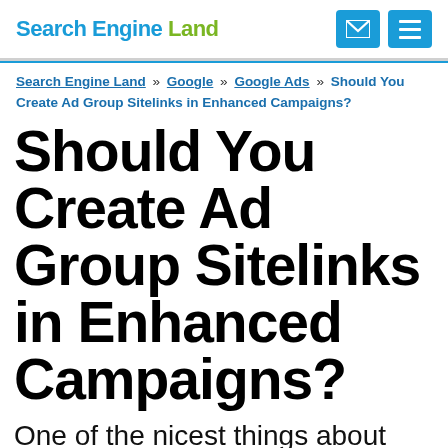Search Engine Land
Search Engine Land » Google » Google Ads » Should You Create Ad Group Sitelinks in Enhanced Campaigns?
Should You Create Ad Group Sitelinks in Enhanced Campaigns?
One of the nicest things about AdWords Enhanced Campaigns is that you can now control sitelinks at the campaign or the ad